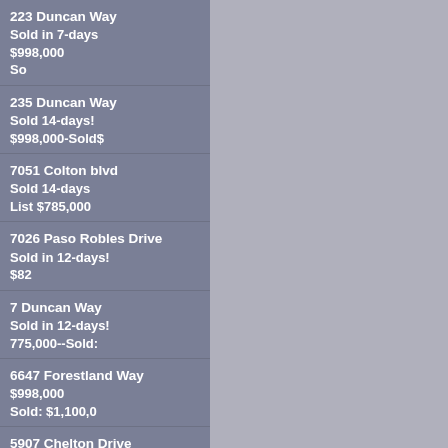223 Duncan Way
Sold in 7-days
$998,000
So
235 Duncan Way
Sold 14-days!
$998,000-Sold$
7051 Colton blvd
Sold 14-days
List $785,000
7026 Paso Robles Drive
Sold in 12-days!
$82
7 Duncan Way
Sold in 12-days!
775,000--Sold:
6647 Forestland Way
$998,000
Sold: $1,100,0
5907 Chelton Drive
Sold in 12-days!
$745,000
6930 Colton Blvd
$725,000-Sold: $960,000